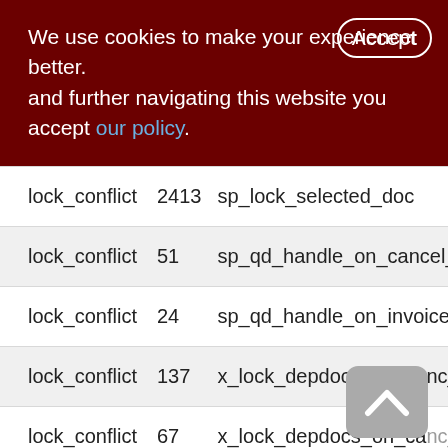We use cookies to make your experience better. By accepting and further navigating this website you accept our policy.
| type | count | name |
| --- | --- | --- |
| lock_conflict | 2413 | sp_lock_selected_doc |
| lock_conflict | 51 | sp_qd_handle_on_cancel_clo |
| lock_conflict | 24 | sp_qd_handle_on_invoice_upd_st |
| lock_conflict | 137 | x_lock_depdocs_on_canc_invoice |
| lock_conflict | 67 | x_lock_depdocs_on_canc_sup_or |